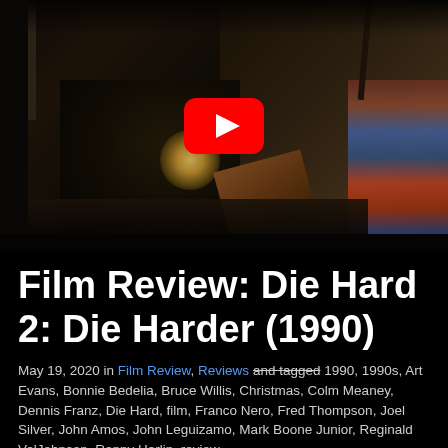[Figure (screenshot): YouTube video thumbnail showing a dark concert/performance scene with a YouTube play button overlay. The scene shows figures on a dark stage with colored fabrics/backdrop on the right side, a bright light flash in the middle, and what appears to be a wooden object. The YouTube play button (red rounded rectangle with white triangle) is centered on the image.]
Film Review: Die Hard 2: Die Harder (1990)
May 19, 2020 in Film Review, Reviews and tagged 1990, 1990s, Art Evans, Bonnie Bedelia, Bruce Willis, Christmas, Colm Meaney, Dennis Franz, Die Hard, film, Franco Nero, Fred Thompson, Joel Silver, John Amos, John Leguizamo, Mark Boone Junior, Reginald VelJohnson, Renny Harlin, review,